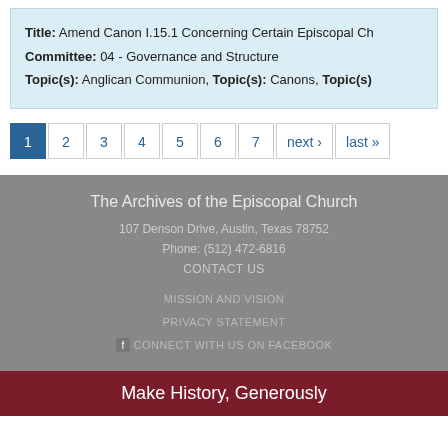Title: Amend Canon I.15.1 Concerning Certain Episcopal Ch...
Committee: 04 - Governance and Structure
Topic(s): Anglican Communion, Topic(s): Canons, Topic(s)...
Pagination: 1 2 3 4 5 6 7 next › last »
The Archives of the Episcopal Church
107 Denson Drive, Austin, Texas 78752
Phone: (512) 472-6816
CONTACT US
MISSION AND VISION
PRIVACY STATEMENT
CONNECT WITH US ON FACEBOOK
Make History, Generously